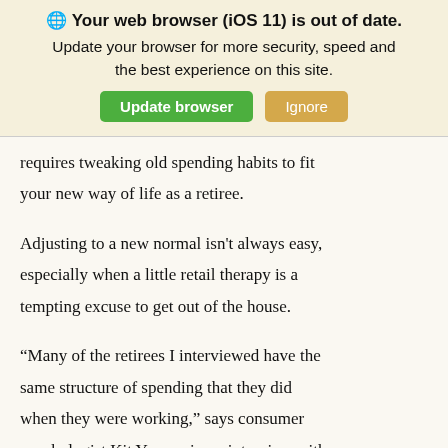[Figure (screenshot): Browser update banner with globe emoji, bold title 'Your web browser (iOS 11) is out of date.', subtitle 'Update your browser for more security, speed and the best experience on this site.', and two buttons: green 'Update browser' and tan 'Ignore'.]
requires tweaking old spending habits to fit your new way of life as a retiree.
Adjusting to a new normal isn't always easy, especially when a little retail therapy is a tempting excuse to get out of the house.
“Many of the retirees I interviewed have the same structure of spending that they did when they were working,” says consumer psychologist Kit Yarrow in an interview with USA Today. In her book, Decoding the New